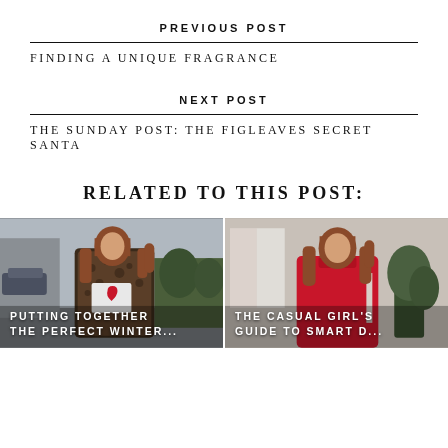PREVIOUS POST
FINDING A UNIQUE FRAGRANCE
NEXT POST
THE SUNDAY POST: THE FIGLEAVES SECRET SANTA
RELATED TO THIS POST:
[Figure (photo): Woman wearing leopard print coat and white t-shirt with red heart, outdoor winter scene]
PUTTING TOGETHER THE PERFECT WINTER...
[Figure (photo): Woman in red sweater outdoors, smart casual style]
THE CASUAL GIRL'S GUIDE TO SMART D...